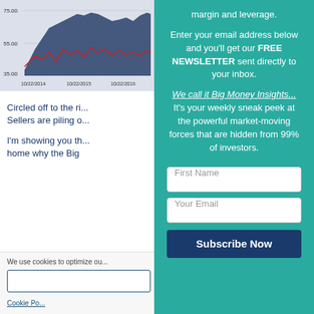[Figure (continuous-plot): Stock price line chart with two lines (blue area and red line) over dates from 10/22/2014 to 10/22/2016, y-axis range 35.00 to 75.00]
Circled off to the ri... Sellers are piling o...
I'm showing you th... home why the Big...
We use cookies to optimize ou...
margin and leverage.
Enter your email address below and you'll get our FREE NEWSLETTER sent directly to your inbox.
We call it Big Money Insights... It's your weekly sneak peek at the powerful market-moving forces that are hidden from 99% of investors.
First Name
Your Email
Subscribe Now